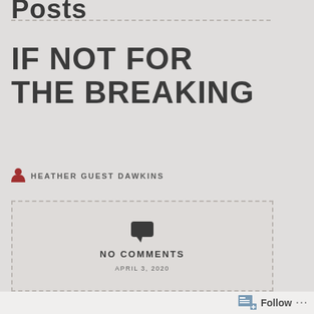Posts
IF NOT FOR THE BREAKING
HEATHER GUEST DAWKINS
NO COMMENTS
APRIL 3, 2020
Follow